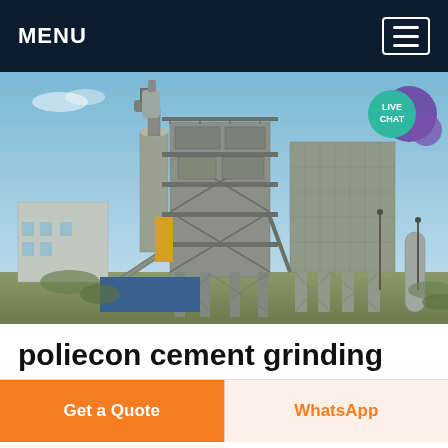MENU
[Figure (photo): Industrial cement grinding plant facility with large multi-story steel structure and equipment against a blue sky background. Features silos, conveyors, dust collectors and industrial scaffolding.]
poliecon cement grinding
Get a Quote
WhatsApp